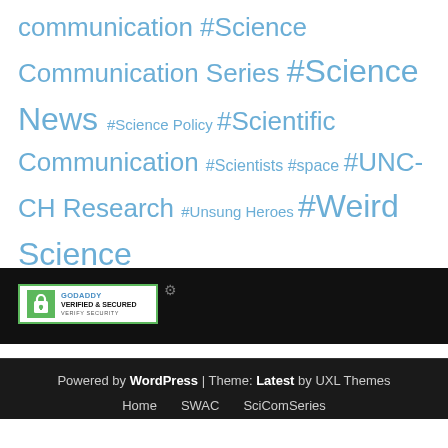communication #Science Communication Series #Science News #Science Policy #Scientific Communication #Scientists #space #UNC-CH Research #Unsung Heroes #Weird Science #Women in Science
[Figure (logo): GoDaddy Verified & Secured badge with green lock icon]
Powered by WordPress | Theme: Latest by UXL Themes
Home   SWAC   SciComSeries